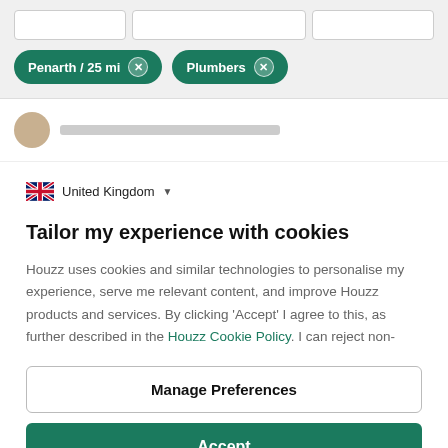[Figure (screenshot): Filter tags showing 'Penarth / 25 mi' and 'Plumbers' on a grey search bar background]
[Figure (screenshot): Partial result preview with avatar circle and blurred text line]
United Kingdom
Tailor my experience with cookies
Houzz uses cookies and similar technologies to personalise my experience, serve me relevant content, and improve Houzz products and services. By clicking 'Accept' I agree to this, as further described in the Houzz Cookie Policy. I can reject non-
Manage Preferences
Accept